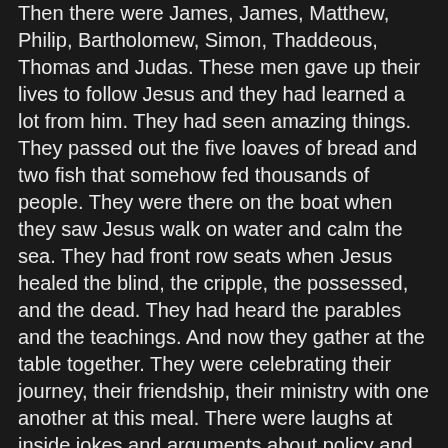Then there were James, James, Matthew, Philip, Bartholomew, Simon, Thaddeous, Thomas and Judas. These men gave up their lives to follow Jesus and they had learned a lot from him. They had seen amazing things. They passed out the five loaves of bread and two fish that somehow fed thousands of people. They were there on the boat when they saw Jesus walk on water and calm the sea. They had front row seats when Jesus healed the blind, the cripple, the possessed, and the dead. They had heard the parables and the teachings. And now they gather at the table together. They were celebrating their journey, their friendship, their ministry with one another at this meal. There were laughs at inside jokes and arguments about policy and procedures. It was a time to relax and enjoy each other's company, as a family of misfits who God had called to be disciples.
But like I said, Jesus knew what they were about to do as well. Jesus knew that by morning none of them would be at Jesus' side. He tells them that one of them will betray him before this night was over. He tells Peter that he will deny him three times. The others will run and hide when things